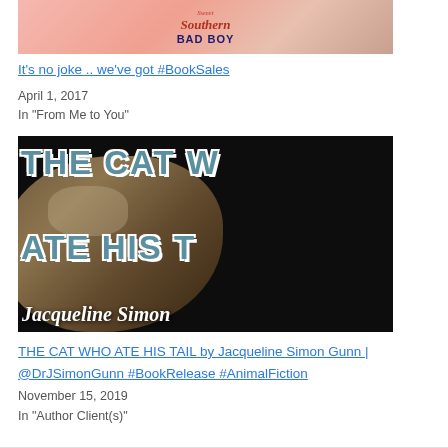[Figure (photo): Book cover image for 'Sweet Southern Bad Boy' with pink background and person in white tank top]
It's no joke .. we've got #BookSales
April 1, 2017
In "From Me to You"
[Figure (photo): Book cover image for 'The Cat Who Ate His Tail' by Jacqueline Simon Gunn, showing a cat with stylized text on dark background]
THE CAT WHO ATE HIS TAIL by Jacqueline Simon Gunn | @DrJSimonGunn #BookRelease #AnimalFiction
November 15, 2019
In "Author Client(s)"